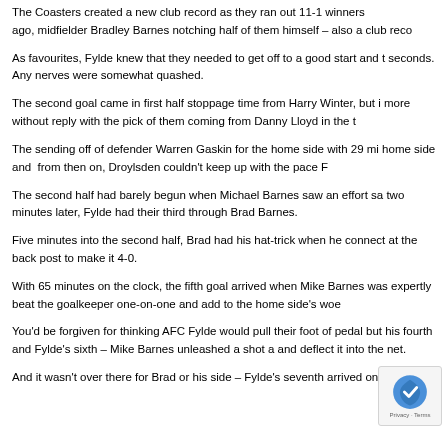The Coasters created a new club record as they ran out 11-1 winners ago, midfielder Bradley Barnes notching half of them himself – also a club reco
As favourites, Fylde knew that they needed to get off to a good start and they did, taking the lead within seconds. Any nerves were somewhat quashed.
The second goal came in first half stoppage time from Harry Winter, but it added more without reply with the pick of them coming from Danny Lloyd in the t
The sending off of defender Warren Gaskin for the home side with 29 min home side and from then on, Droylsden couldn't keep up with the pace F
The second half had barely begun when Michael Barnes saw an effort sa two minutes later, Fylde had their third through Brad Barnes.
Five minutes into the second half, Brad had his hat-trick when he connect at the back post to make it 4-0.
With 65 minutes on the clock, the fifth goal arrived when Mike Barnes was expertly beat the goalkeeper one-on-one and add to the home side's woe
You'd be forgiven for thinking AFC Fylde would pull their foot of pedal but his fourth and Fylde's sixth – Mike Barnes unleashed a shot a and deflect it into the net.
And it wasn't over there for Brad or his side – Fylde's seventh arrived on